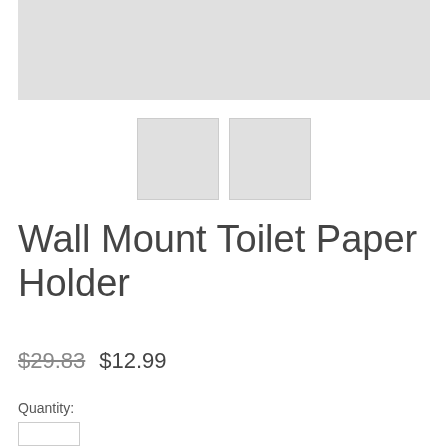[Figure (photo): Main product image placeholder (light gray rectangle)]
[Figure (photo): Two thumbnail image placeholders (light gray squares)]
Wall Mount Toilet Paper Holder
$29.83  $12.99
Quantity: